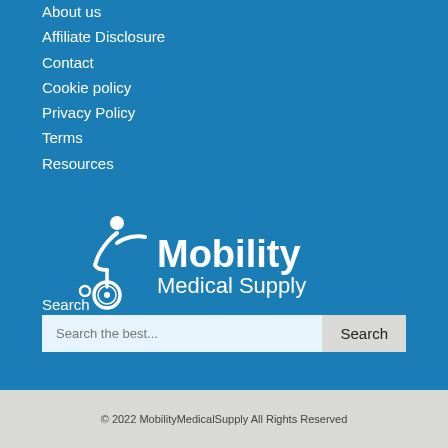About us
Affiliate Disclosure
Contact
Cookie policy
Privacy Policy
Terms
Resources
[Figure (logo): Mobility Medical Supply logo with wheelchair user graphic and text 'Mobility Medical Supply']
Search
Search the best...
© 2022 MobilityMedicalSupply All Rights Reserved